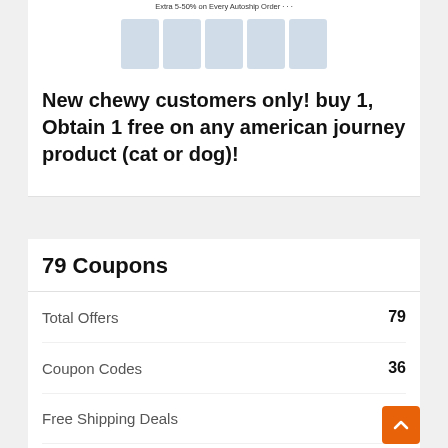[Figure (screenshot): Product images for American Journey pet products shown as thumbnails in a row]
New chewy customers only! buy 1, Obtain 1 free on any american journey product (cat or dog)!
79 Coupons
|  |  |
| --- | --- |
| Total Offers | 79 |
| Coupon Codes | 36 |
| Free Shipping Deals |  |
| Best Discount | 50% |